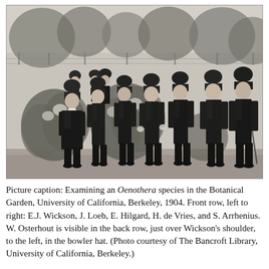[Figure (photo): Black and white historical photograph of a group of men in dark suits and bowler hats examining an Oenothera plant species in a botanical garden. The men are standing in a row among flowering plants. Trees and a fence are visible in the background. The photo is from 1904 at the University of California, Berkeley Botanical Garden.]
Picture caption: Examining an Oenothera species in the Botanical Garden, University of California, Berkeley, 1904. Front row, left to right: E.J. Wickson, J. Loeb, E. Hilgard, H. de Vries, and S. Arrhenius. W. Osterhout is visible in the back row, just over Wickson's shoulder, to the left, in the bowler hat. (Photo courtesy of The Bancroft Library, University of California, Berkeley.)